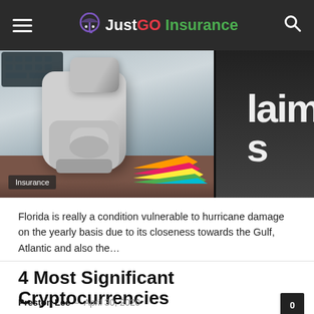JustGO Insurance
[Figure (photo): Office desk scene with rubber stamp, dark binder labeled 'claims', colorful sticky note tabs, and laptop. Badge reads 'Insurance'.]
Florida is really a condition vulnerable to hurricane damage on the yearly basis due to its closeness towards the Gulf, Atlantic and also the…
4 Most Significant Cryptocurrencies
Preston Lee  –  April 30, 2020